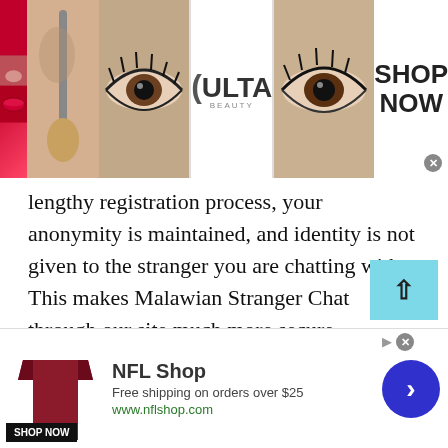[Figure (screenshot): ULTA Beauty advertisement banner at the top with makeup/beauty images, ULTA logo, and SHOP NOW text]
lengthy registration process, your anonymity is maintained, and identity is not given to the stranger you are chatting with. This makes Malawian Stranger Chat through our site much more secure compared to other platforms.
We prioritize safety and security and take every measure to secure our users from any invaders of hackers. We have blocked Ips and even countries where most cybercrimes have been reported to protect our users and their private information from getting into the hands of someone who
[Figure (screenshot): NFL Shop advertisement banner at the bottom with jersey image, NFL Shop text, free shipping offer, shop now button, and navigation arrow]